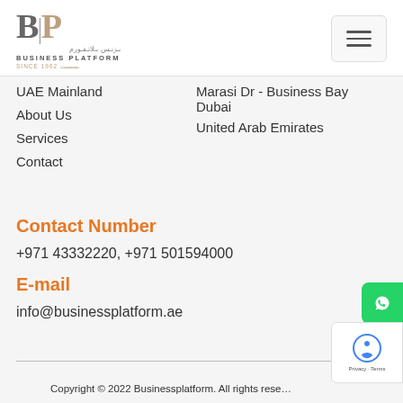Business Platform logo and navigation toggle
UAE Mainland
About Us
Services
Contact
Marasi Dr - Business Bay Dubai
United Arab Emirates
Contact Number
+971 43332220, +971 501594000
E-mail
info@businessplatform.ae
Copyright © 2022 Businessplatform. All rights reserved